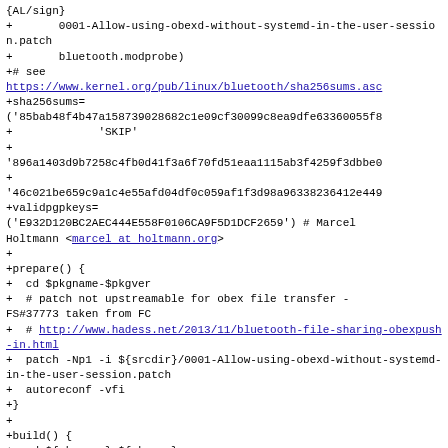Code diff snippet showing PKGBUILD content with bluetooth package configuration including sha256sums, validpgpkeys, prepare() and build() functions